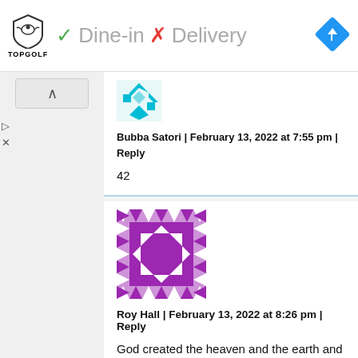[Figure (logo): Topgolf logo with shield and bird icon, text TOPGOLF below]
✓ Dine-in  ✗ Delivery
[Figure (illustration): Blue diamond navigation icon with right-turn arrow]
[Figure (illustration): Small teal/cyan geometric avatar made of diamond shapes for Bubba Satori]
Bubba Satori | February 13, 2022 at 7:55 pm | Reply
42
[Figure (illustration): Purple quilt-pattern style avatar square for Roy Hall]
Roy Hall | February 13, 2022 at 8:26 pm | Reply
God created the heaven and the earth and all things seen and unseen. He alone has